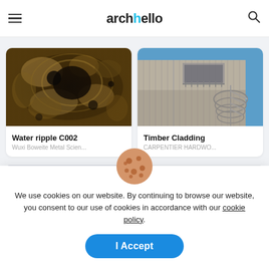archello
[Figure (photo): Water ripple pattern in metallic surface, abstract organic shapes in gold, black, and silver - Water ripple C002 by Wuxi Boweite Metal Scien...]
Water ripple C002
Wuxi Boweite Metal Scien...
[Figure (photo): Modern building exterior with vertical timber cladding and external spiral staircase against blue sky - Timber Cladding by CARPENTIER HARDWO...]
Timber Cladding
CARPENTIER HARDWO...
We use cookies on our website. By continuing to browse our website, you consent to our use of cookies in accordance with our cookie policy.
I Accept